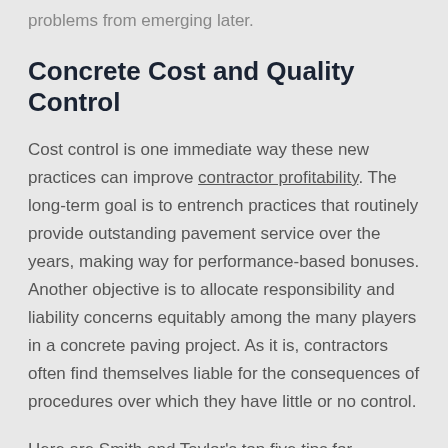problems from emerging later.
Concrete Cost and Quality Control
Cost control is one immediate way these new practices can improve contractor profitability. The long-term goal is to entrench practices that routinely provide outstanding pavement service over the years, making way for performance-based bonuses. Another objective is to allocate responsibility and liability concerns equitably among the many players in a concrete paving project. As it is, contractors often find themselves liable for the consequences of procedures over which they have little or no control.
Here are Smith and Taylor's top five tips for operating successfully under this new paradigm.